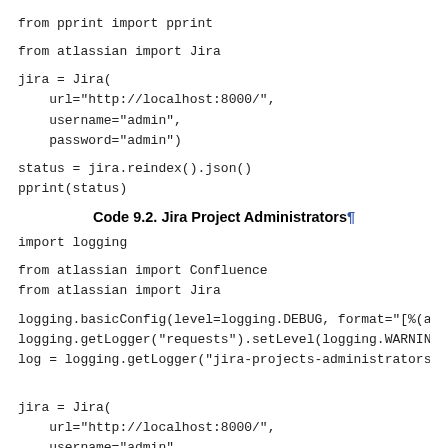from pprint import pprint

from atlassian import Jira

jira = Jira(
    url="http://localhost:8000/",
    username="admin",
    password="admin")

status = jira.reindex().json()
pprint(status)
Code 9.2. Jira Project Administrators¶
import logging

from atlassian import Confluence
from atlassian import Jira

logging.basicConfig(level=logging.DEBUG, format="[%(asct
logging.getLogger("requests").setLevel(logging.WARNING)
log = logging.getLogger("jira-projects-administrators")


jira = Jira(
    url="http://localhost:8000/",
    username="admin",
    password="admin")

(...continued from above, this is the Project Administrators...